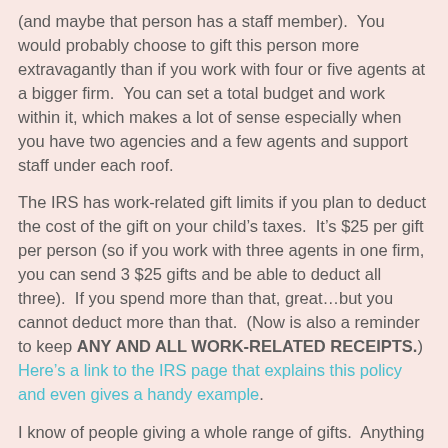(and maybe that person has a staff member).  You would probably choose to gift this person more extravagantly than if you work with four or five agents at a bigger firm.  You can set a total budget and work within it, which makes a lot of sense especially when you have two agencies and a few agents and support staff under each roof.
The IRS has work-related gift limits if you plan to deduct the cost of the gift on your child's taxes.  It's $25 per gift per person (so if you work with three agents in one firm, you can send 3 $25 gifts and be able to deduct all three).  If you spend more than that, great…but you cannot deduct more than that.  (Now is also a reminder to keep ANY AND ALL WORK-RELATED RECEIPTS.)  Here's a link to the IRS page that explains this policy and even gives a handy example.
I know of people giving a whole range of gifts.  Anything from a $10 Starbucks card to a $250 gift card to a swanky store is cool – again, it depends on your relationship with the agent.  I would say that if your kid is a HUGE booker, you should probably err on the more generous side.  That's a lot of